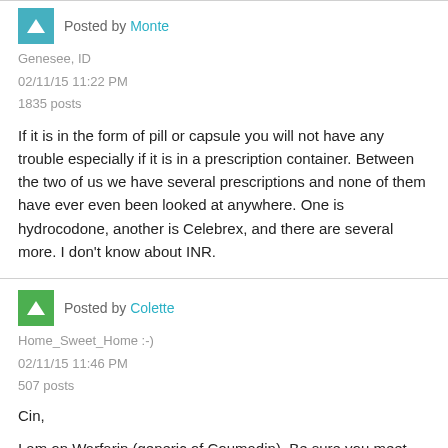Posted by Monte
Genesee, ID
02/11/15 11:22 PM
1835 posts
If it is in the form of pill or capsule you will not have any trouble especially if it is in a prescription container. Between the two of us we have several prescriptions and none of them have ever even been looked at anywhere. One is hydrocodone, another is Celebrex, and there are several more. I don't know about INR.
Posted by Colette
Home_Sweet_Home :-)
02/11/15 11:46 PM
507 posts
Cin,
I am on Warfarin (generic of Coumadin). Be sure you meet the